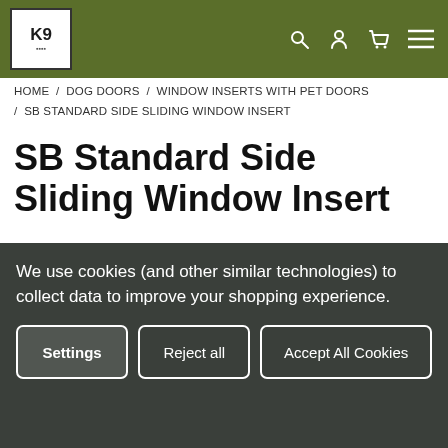K9 [logo] | search | account | cart | menu
HOME / DOG DOORS / WINDOW INSERTS WITH PET DOORS / SB STANDARD SIDE SLIDING WINDOW INSERT
SB Standard Side Sliding Window Insert
Security Boss Mfg
☆☆☆☆☆ (No reviews yet)
Write a Review
$259.99 – $389.99
We use cookies (and other similar technologies) to collect data to improve your shopping experience.
Settings | Reject all | Accept All Cookies